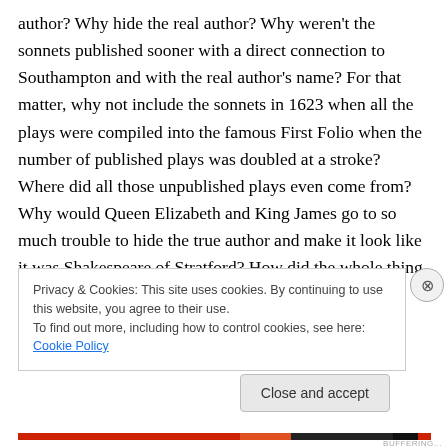author? Why hide the real author? Why weren't the sonnets published sooner with a direct connection to Southampton and with the real author's name? For that matter, why not include the sonnets in 1623 when all the plays were compiled into the famous First Folio when the number of published plays was doubled at a stroke? Where did all those unpublished plays even come from? Why would Queen Elizabeth and King James go to so much trouble to hide the true author and make it look like it was Shakespeare of Stratford? How did the whole thing even get started?
Privacy & Cookies: This site uses cookies. By continuing to use this website, you agree to their use.
To find out more, including how to control cookies, see here: Cookie Policy